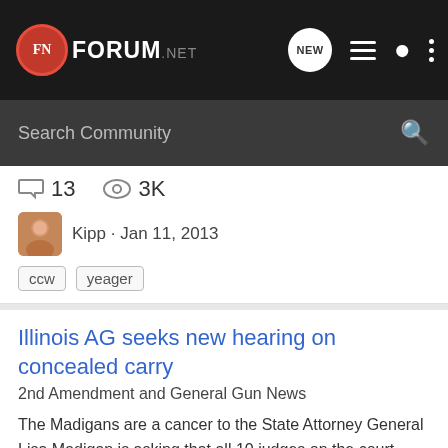[Figure (screenshot): FN Forum .net navigation bar with logo, NEW button, list icon, person icon, and dots menu icon]
[Figure (screenshot): Dark search bar with 'Search Community' placeholder text and search icon]
13 comments · 3K views
Kipp · Jan 11, 2013
ccw  yeager
Illinois AG seeks new hearing on concealed carry
2nd Amendment and General Gun News
The Madigans are a cancer to the State Attorney General Lisa Madigan is asking that all 10 judges on the court rehear the case, saying the previous decision "goes beyond what the U.S. Supreme Court has held" and conflicts with decisions by two other federal appellate courts. Illinois AG seeks...
3 comments · 838 views